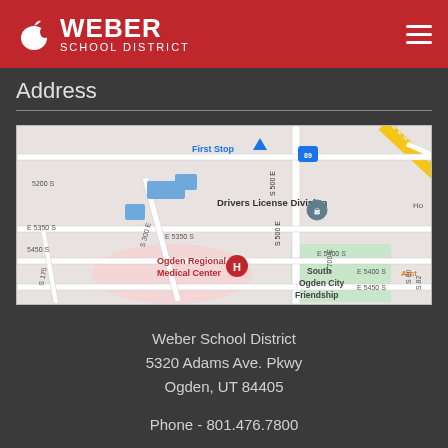Weber School District
Address
[Figure (map): Google Maps view centered near 5320 Adams Ave Pkwy, Ogden, UT 84405. Shows Drivers License Division, First Stop, Ogden Regional Medical Center, South Ogden City Friendship, Ben Lomond Ave, S 500 E, and surrounding streets.]
Weber School District
5320 Adams Ave. Pkwy
Ogden, UT 84405

Phone - 801.476.7800